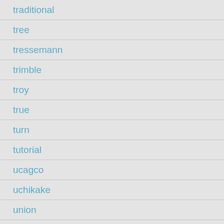traditional
tree
tressemann
trimble
troy
true
turn
tutorial
ucagco
uchikake
union
unique